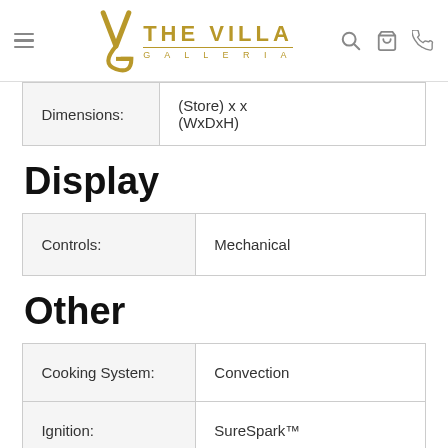THE VILLA GALLERIA
| Dimensions: | (WxDxH) |
| --- | --- |
| Dimensions: | (Store) ... x ... x ...
(WxDxH) |
Display
| Controls: | Mechanical |
| --- | --- |
| Controls: | Mechanical |
Other
| Cooking System: | Convection |
| --- | --- |
| Cooking System: | Convection |
| Ignition: | SureSpark™ |